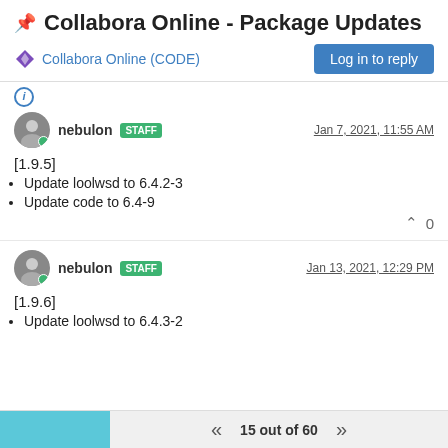📌 Collabora Online - Package Updates
Collabora Online (CODE)
Log in to reply
nebulon STAFF  Jan 7, 2021, 11:55 AM
[1.9.5]
Update loolwsd to 6.4.2-3
Update code to 6.4-9
^ 0
nebulon STAFF  Jan 13, 2021, 12:29 PM
[1.9.6]
Update loolwsd to 6.4.3-2
15 out of 60